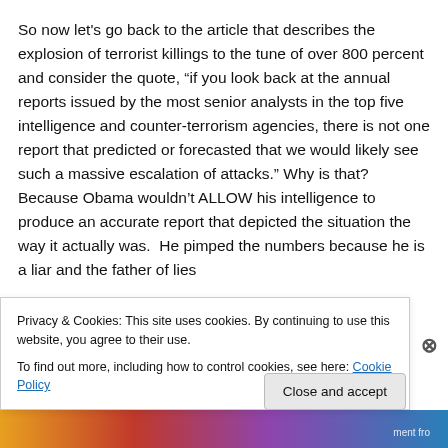So now let's go back to the article that describes the explosion of terrorist killings to the tune of over 800 percent and consider the quote, “if you look back at the annual reports issued by the most senior analysts in the top five intelligence and counter-terrorism agencies, there is not one report that predicted or forecasted that we would likely see such a massive escalation of attacks.” Why is that?  Because Obama wouldn’t ALLOW his intelligence to produce an accurate report that depicted the situation the way it actually was.  He pimped the numbers because he is a liar and the father of lies
Privacy & Cookies: This site uses cookies. By continuing to use this website, you agree to their use.
To find out more, including how to control cookies, see here: Cookie Policy
Close and accept